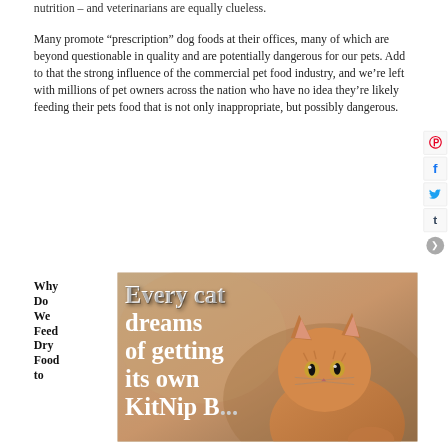nutrition – and veterinarians are equally clueless.
Many promote “prescription” dog foods at their offices, many of which are beyond questionable in quality and are potentially dangerous for our pets. Add to that the strong influence of the commercial pet food industry, and we’re left with millions of pet owners across the nation who have no idea they’re likely feeding their pets food that is not only inappropriate, but possibly dangerous.
Why Do We Feed Dry Food to
[Figure (photo): Promotional image for KitNip Box showing an orange tabby cat with white text overlay reading 'Every cat dreams of getting its own KitNip B...' on a warm brownish background]